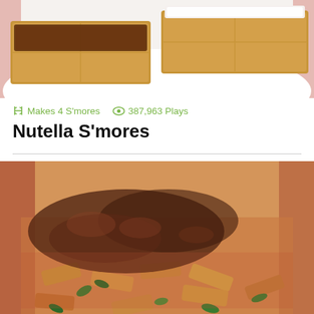[Figure (photo): Close-up photo of graham crackers spread with Nutella chocolate spread and cream cheese/marshmallow cream on a white plate, with a red background visible]
Makes 4 S'mores   387,963 Plays
Nutella S'mores
[Figure (photo): Close-up photo of penne pasta with a meat and tomato bolognese sauce garnished with fresh basil/herbs, on a red plate background]